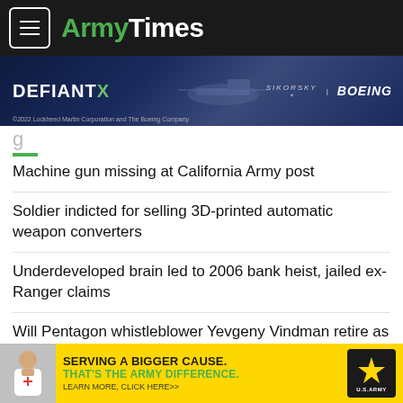ArmyTimes
[Figure (screenshot): Advertisement banner for Defiant X helicopter by Sikorsky and Boeing. Dark background with helicopter imagery. Text reads: DEFIANT X, SIKORSKY, BOEING. Copyright 2022 Lockheed Martin Corporation and The Boeing Company.]
g
Machine gun missing at California Army post
Soldier indicted for selling 3D-printed automatic weapon converters
Underdeveloped brain led to 2006 bank heist, jailed ex-Ranger claims
Will Pentagon whistleblower Yevgeny Vindman retire as a colonel?
[Figure (screenshot): US Army advertisement banner. Yellow background. Text: SERVING A BIGGER CAUSE. THAT'S THE ARMY DIFFERENCE. LEARN MORE, CLICK HERE>>. US Army star logo on right. Doctor/medical person image on left.]